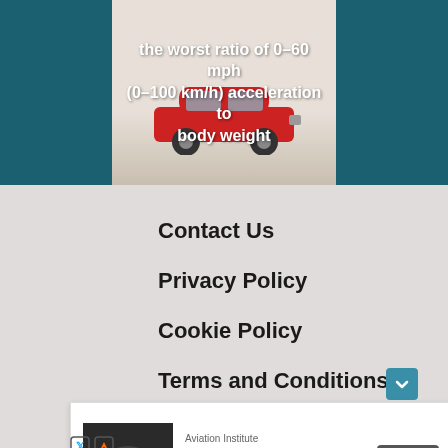[Figure (photo): Red compact car (Lada Niva / similar) shown against a light beige/cream background, overlaid with white bold text: 'the worst ratio of 0–60 mph (0–100 km/h) acceleration to body weight']
Contact Us
Privacy Policy
Cookie Policy
Terms and Conditions
[Figure (screenshot): Advertisement banner: Aviation Institute, A&P License Training, Open button]